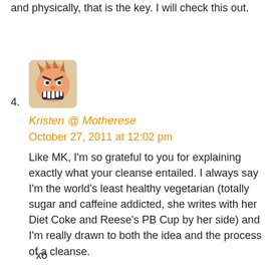and physically, that is the key. I will check this out.
[Figure (illustration): Avatar image of a cartoon face with spiky hair and teeth, in a rounded square with beige/orange tones]
4.
Kristen @ Motherese
October 27, 2011 at 12:02 pm
Like MK, I'm so grateful to you for explaining exactly what your cleanse entailed. I always say I'm the world's least healthy vegetarian (totally sugar and caffeine addicted, she writes with her Diet Coke and Reese's PB Cup by her side) and I'm really drawn to both the idea and the process of a cleanse.
xo